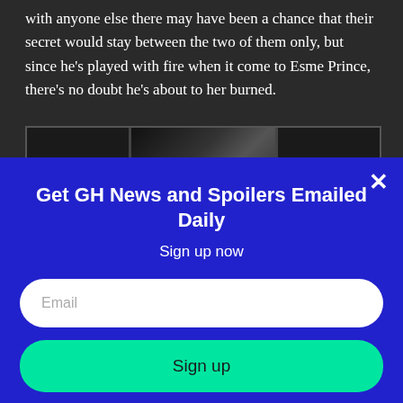with anyone else there may have been a chance that their secret would stay between the two of them only, but since he's played with fire when it come to Esme Prince, there's no doubt he's about to her burned.
[Figure (photo): A dark partially visible image/thumbnail inside a bordered box]
Get GH News and Spoilers Emailed Daily
Sign up now
Email
Sign up